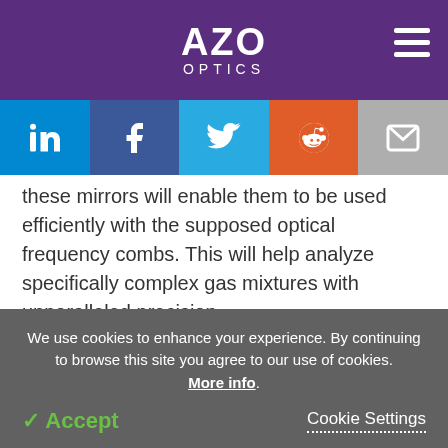AZO OPTICS
[Figure (screenshot): Social sharing bar with LinkedIn, Facebook, Twitter, Reddit, and Email icons]
these mirrors will enable them to be used efficiently with the supposed optical frequency combs. This will help analyze specifically complex gas mixtures with unparalleled precision.
Journal Reference:
We use cookies to enhance your experience. By continuing to browse this site you agree to our use of cookies. More info. Accept Cookie Settings